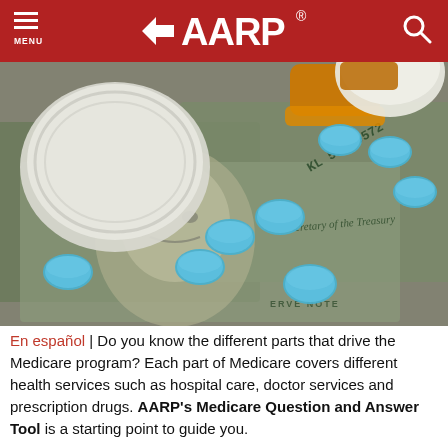MENU | AARP® | Search
[Figure (photo): Blue prescription pills spilled from an orange prescription bottle onto US $100 dollar bills, showing Benjamin Franklin's portrait and serial number KL 53510572]
En español | Do you know the different parts that drive the Medicare program? Each part of Medicare covers different health services such as hospital care, doctor services and prescription drugs. AARP's Medicare Question and Answer Tool is a starting point to guide you.